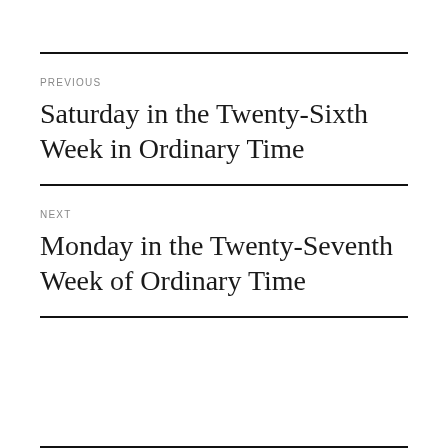PREVIOUS
Saturday in the Twenty-Sixth Week in Ordinary Time
NEXT
Monday in the Twenty-Seventh Week of Ordinary Time